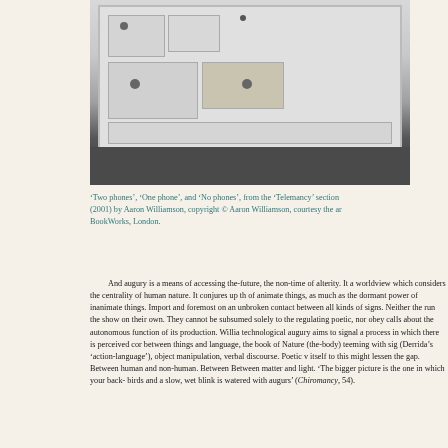[Figure (photo): Top-down photograph of a plastic mold or cast, white/grey in color with multiple compartments and holes, sitting on a dark surface. The mold appears to be for mobile phones.]
'Two phones', 'One phone', and 'No phones', from the 'Telemancy' section (2001) by Aaron Williamson, copyright © Aaron Williamson, courtesy the ar BookWorks, London.
And augury is a means of accessing the-future, the non-time of alterity. It a worldview which considers the centrality of human nature. It conjures up th of animate things, as much as the dormant power of inanimate things. Import and foremost on an unbroken contact between all kinds of signs. Neither the run the show on their own. They cannot be subsumed solely to the regulating poetic, nor obey calls about the autonomous function of its production. Willia technological augury aims to signal a process in which there is perceived cor between things and language, the book of Nature (the-body) teeming with sig (Derrida's 'action-language'), object manipulation, verbal discourse. Poetic v itself to this might lessen the gap. Between human and non-human. Between Between matter and light. 'The bigger picture is the one in which your back- birds and a slow, wet blink is watered with augurs' (Chiromancy, 54).